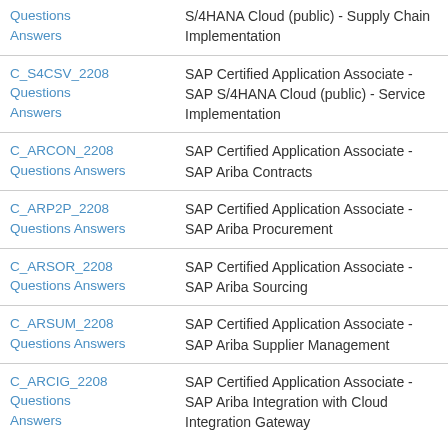| Exam Code | Description |
| --- | --- |
| Questions
Answers | S/4HANA Cloud (public) - Supply Chain Implementation |
| C_S4CSV_2208
Questions
Answers | SAP Certified Application Associate - SAP S/4HANA Cloud (public) - Service Implementation |
| C_ARCON_2208
Questions Answers | SAP Certified Application Associate - SAP Ariba Contracts |
| C_ARP2P_2208
Questions Answers | SAP Certified Application Associate - SAP Ariba Procurement |
| C_ARSOR_2208
Questions Answers | SAP Certified Application Associate - SAP Ariba Sourcing |
| C_ARSUM_2208
Questions Answers | SAP Certified Application Associate - SAP Ariba Supplier Management |
| C_ARCIG_2208
Questions
Answers | SAP Certified Application Associate - SAP Ariba Integration with Cloud Integration Gateway |